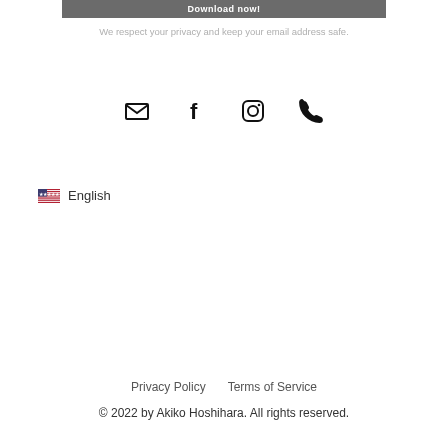Download now!
We respect your privacy and keep your email address safe.
[Figure (infographic): Row of four social/contact icons: envelope (email), Facebook f, Instagram, telephone]
🇺🇸 English
Privacy Policy   Terms of Service
© 2022 by Akiko Hoshihara. All rights reserved.